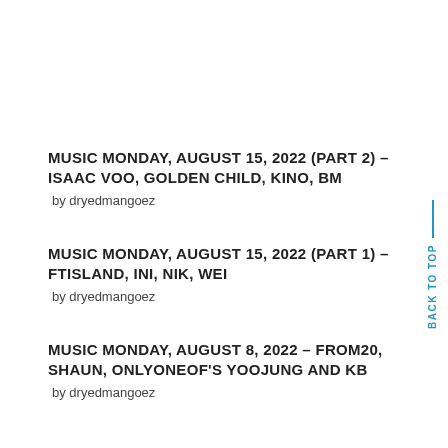MUSIC MONDAY, AUGUST 15, 2022 (PART 2) – ISAAC VOO, GOLDEN CHILD, KINO, BM
by dryedmangoez
MUSIC MONDAY, AUGUST 15, 2022 (PART 1) – FTISLAND, INI, NIK, WEI
by dryedmangoez
MUSIC MONDAY, AUGUST 8, 2022 – FROM20, SHAUN, ONLYONEOF'S YOOJUNG AND KB
by dryedmangoez